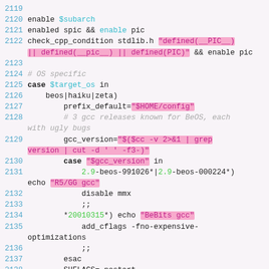[Figure (screenshot): Source code listing showing shell/configure script lines 2119-2138 with syntax highlighting. Line numbers in cyan on left, keywords in black, variables in cyan, string highlights in pink/magenta, comments in gray italic, green version numbers.]